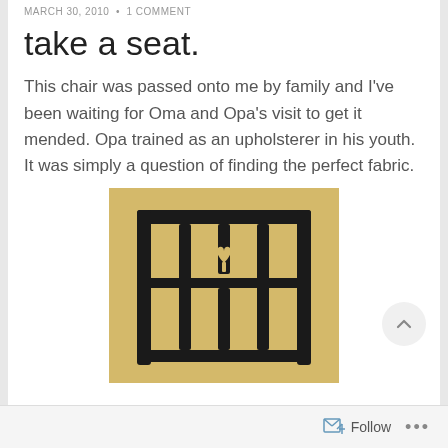MARCH 30, 2010  •  1 COMMENT
take a seat.
This chair was passed onto me by family and I've been waiting for Oma and Opa's visit to get it mended. Opa trained as an upholsterer in his youth. It was simply a question of finding the perfect fabric.
[Figure (photo): Black wooden chair back photographed against a yellow background, showing vertical slats with a heart cutout in the center rail]
Follow  •••